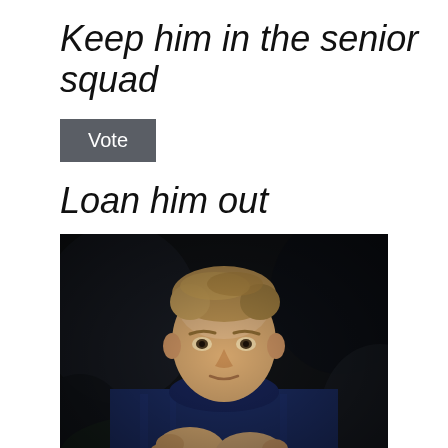Keep him in the senior squad
Vote
Loan him out
[Figure (photo): A man in a dark blue puffer jacket applauding, photographed at night against a dark blurred background. He appears to be a football manager or coach.]